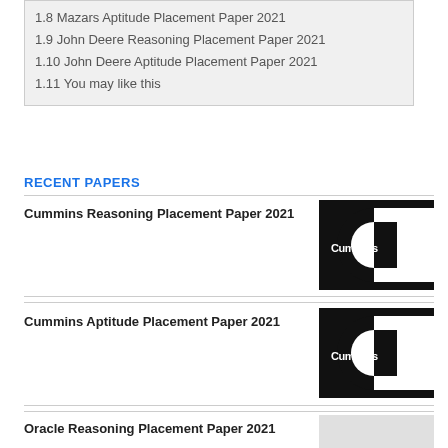1.8 Mazars Aptitude Placement Paper 2021
1.9 John Deere Reasoning Placement Paper 2021
1.10 John Deere Aptitude Placement Paper 2021
1.11 You may like this
RECENT PAPERS
Cummins Reasoning Placement Paper 2021
[Figure (logo): Cummins company logo — black C-shaped horseshoe symbol with 'Cummins' text in white on a black background]
Cummins Aptitude Placement Paper 2021
[Figure (logo): Cummins company logo — black C-shaped horseshoe symbol with 'Cummins' text in white on a black background]
Oracle Reasoning Placement Paper 2021
[Figure (logo): Oracle logo thumbnail, light grey background]